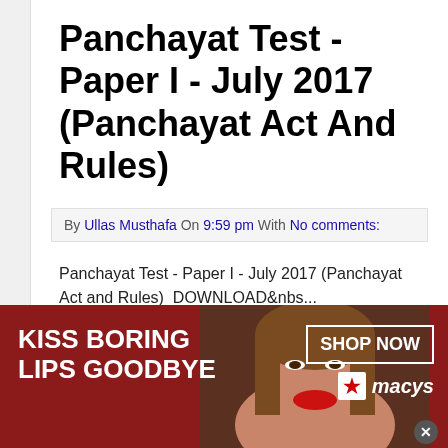Panchayat Test - Paper I - July 2017 (Panchayat Act And Rules)
By Ullas Musthafa On 9:59 pm With No comments:
Panchayat Test - Paper I - July 2017 (Panchayat Act and Rules)  DOWNLOAD&nbs...
Click To Download
Revenue Test - Paper I - July
[Figure (photo): Macy's advertisement banner: 'KISS BORING LIPS GOODBYE' with SHOP NOW button and Macy's star logo, showing a woman with red lipstick]